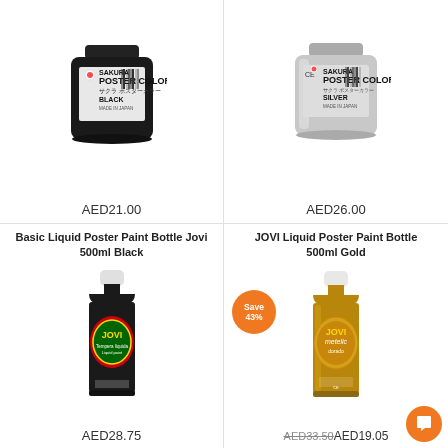[Figure (photo): Sakura Poster Color jar in black, 180ml, made in Japan]
AED21.00
[Figure (photo): Sakura Poster Color jar in silver, 30ml, made in Japan]
AED26.00
Basic Liquid Poster Paint Bottle Jovi 500ml Black
JOVI Liquid Poster Paint Bottle 500ml Gold
[Figure (photo): Jovi 500ml black liquid poster paint bottle]
AED28.75
[Figure (photo): Jovi 500ml gold metallic liquid poster paint bottle with Save 43% badge]
AED33.50AED19.05